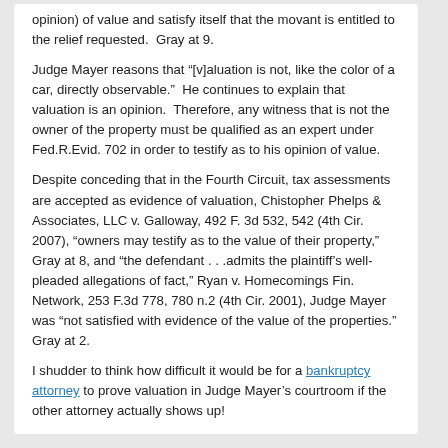opinion) of value and satisfy itself that the movant is entitled to the relief requested.  Gray at 9.
Judge Mayer reasons that “[v]aluation is not, like the color of a car, directly observable.”  He continues to explain that valuation is an opinion.  Therefore, any witness that is not the owner of the property must be qualified as an expert under Fed.R.Evid. 702 in order to testify as to his opinion of value.
Despite conceding that in the Fourth Circuit, tax assessments are accepted as evidence of valuation, Chistopher Phelps & Associates, LLC v. Galloway, 492 F. 3d 532, 542 (4th Cir. 2007), “owners may testify as to the value of their property,” Gray at 8, and “the defendant . . .admits the plaintiff’s well-pleaded allegations of fact,” Ryan v. Homecomings Fin. Network, 253 F.3d 778, 780 n.2 (4th Cir. 2001), Judge Mayer was “not satisfied with evidence of the value of the properties.” Gray at 2.
I shudder to think how difficult it would be for a bankruptcy attorney to prove valuation in Judge Mayer’s courtroom if the other attorney actually shows up!